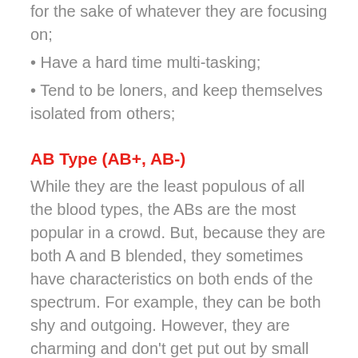for the sake of whatever they are focusing on;
• Have a hard time multi-tasking;
• Tend to be loners, and keep themselves isolated from others;
AB Type (AB+, AB-)
While they are the least populous of all the blood types, the ABs are the most popular in a crowd. But, because they are both A and B blended, they sometimes have characteristics on both ends of the spectrum. For example, they can be both shy and outgoing. However, they are charming and don't get put out by small matters. They are active and spiritual, and their lives tend to be full of excitement